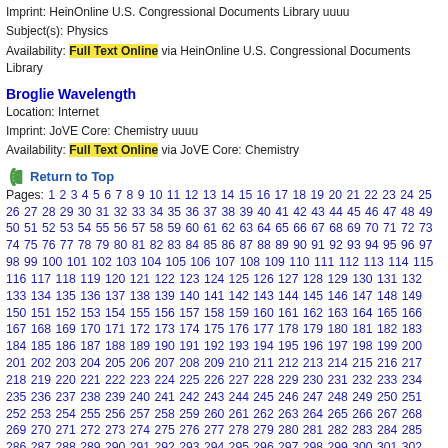Imprint: HeinOnline U.S. Congressional Documents Library uuuu
Subject(s): Physics
Availability: Full Text Online via HeinOnline U.S. Congressional Documents Library
Broglie Wavelength
Location: Internet
Imprint: JoVE Core: Chemistry uuuu
Availability: Full Text Online via JoVE Core: Chemistry
↩ Return to Top
Pages: 1 2 3 4 5 6 7 8 9 10 11 12 13 14 15 16 17 18 19 20 21 22 23 24 25 26 27 28 29 30 31 32 33 34 35 36 37 38 39 40 41 42 43 44 45 46 47 48 49 50 51 52 53 54 55 56 57 58 59 60 61 62 63 64 65 66 67 68 69 70 71 72 73 74 75 76 77 78 79 80 81 82 83 84 85 86 87 88 89 90 91 92 93 94 95 96 97 98 99 100 101 102 103 104 105 106 107 108 109 110 111 112 113 114 115 116 117 118 119 120 121 122 123 124 125 126 127 128 129 130 131 132 133 134 135 136 137 138 139 140 141 142 143 144 145 146 147 148 149 150 151 152 153 154 155 156 157 158 159 160 161 162 163 164 165 166 167 168 169 170 171 172 173 174 175 176 177 178 179 180 181 182 183 184 185 186 187 188 189 190 191 192 193 194 195 196 197 198 199 200 201 202 203 204 205 206 207 208 209 210 211 212 213 214 215 216 217 218 219 220 221 222 223 224 225 226 227 228 229 230 231 232 233 234 235 236 237 238 239 240 241 242 243 244 245 246 247 248 249 250 251 252 253 254 255 256 257 258 259 260 261 262 263 264 265 266 267 268 269 270 271 272 273 274 275 276 277 278 279 280 281 282 283 284 285 286 287 288 289 290 291 292 293 294 295 296 297 298 299 300 301 302 303